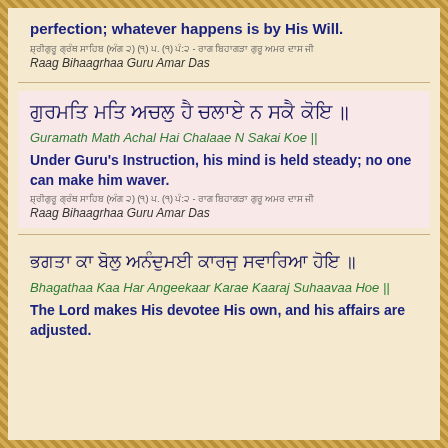perfection; whatever happens is by His Will.
ਸ਼੍ਰੀਗੁਰੂ ਗ੍ਰੰਥ ਸਾਹਿਬ (ਅੰਗ ੨) (੧) ਪ. (੧) ਪੰ:੨ - ਰਾਗ ਬਿਹਾਗੜਾ ਗੁਰੂ ਅਮਰ ਦਾਸ ਜੀ
Raag Bihaagrhaa Guru Amar Das
ਗੁਰਮਤਿ ਮਤਿ ਅਚਲੁ ਹੈ ਚਲਾਏ ਨ ਸਕੈ ਕੋਇ ॥
Guramath Math Achal Hai Chalaae N Sakai Koe ||
Under Guru's Instruction, his mind is held steady; no one can make him waver.
ਸ਼੍ਰੀਗੁਰੂ ਗ੍ਰੰਥ ਸਾਹਿਬ (ਅੰਗ ੨) (੧) ਪ. (੧) ਪੰ:੨ - ਰਾਗ ਬਿਹਾਗੜਾ ਗੁਰੂ ਅਮਰ ਦਾਸ ਜੀ
Raag Bihaagrhaa Guru Amar Das
ਭਗਤਾ ਕਾ ਬੋਲੁ ਅਨੰਦੁਮਈ ਕਾਰਜੁ ਸਵਾਰਿਆ ਹੋਇ ॥
Bhagathaa Kaa Har Angeekaar Karae Kaaraj Suhaavaa Hoe ||
The Lord makes His devotee His own, and his affairs are adjusted.